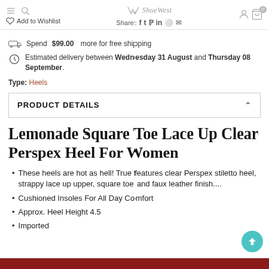Add to Wishlist | ShoeWest | Share: f t p in w mail
Spend $99.00 more for free shipping
Estimated delivery between Wednesday 31 August and Thursday 08 September.
Type: Heels
PRODUCT DETAILS
Lemonade Square Toe Lace Up Clear Perspex Heel For Women
These heels are hot as hell! True features clear Perspex stiletto heel, strappy lace up upper, square toe and faux leather finish....
Cushioned Insoles For All Day Comfort
Approx. Heel Height 4.5
Imported